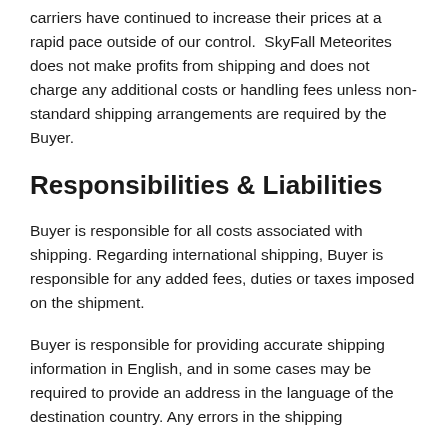carriers have continued to increase their prices at a rapid pace outside of our control.  SkyFall Meteorites does not make profits from shipping and does not charge any additional costs or handling fees unless non-standard shipping arrangements are required by the Buyer.
Responsibilities & Liabilities
Buyer is responsible for all costs associated with shipping. Regarding international shipping, Buyer is responsible for any added fees, duties or taxes imposed on the shipment.
Buyer is responsible for providing accurate shipping information in English, and in some cases may be required to provide an address in the language of the destination country. Any errors in the shipping